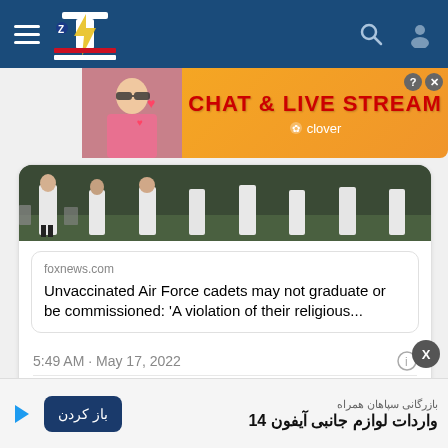TZP News header with hamburger menu, logo, search and user icons
[Figure (screenshot): Advertisement banner: CHAT & LIVE STREAM by Clover, with woman photo on left]
[Figure (photo): Military cadets in white uniforms on a field, partially visible]
foxnews.com
Unvaccinated Air Force cadets may not graduate or be commissioned: 'A violation of their religious...
5:49 AM · May 17, 2022
Reply   Copy link
Explore what's happening on Twitter
[Figure (screenshot): Bottom advertisement in Persian: بازرگانی سپاهان همراه - واردات لوازم جانبی آیفون 14, with dark blue button باز کردن]